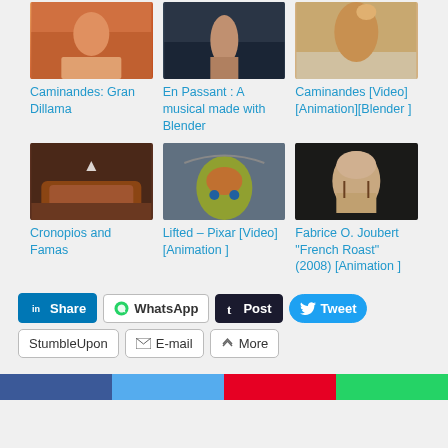[Figure (screenshot): Thumbnail image of Caminandes: Gran Dillama animation]
Caminandes: Gran Dillama
[Figure (screenshot): Thumbnail image of En Passant: A musical made with Blender]
En Passant : A musical made with Blender
[Figure (screenshot): Thumbnail image of Caminandes [Video][Animation][Blender]]
Caminandes [Video][Animation][Blender ]
[Figure (screenshot): Thumbnail image of Cronopios and Famas animation]
Cronopios and Famas
[Figure (screenshot): Thumbnail image of Lifted – Pixar [Video][Animation]]
Lifted – Pixar [Video] [Animation ]
[Figure (screenshot): Thumbnail image of Fabrice O. Joubert French Roast 2008 Animation]
Fabrice O. Joubert "French Roast" (2008) [Animation ]
Share | WhatsApp | Post | Tweet | StumbleUpon | E-mail | More